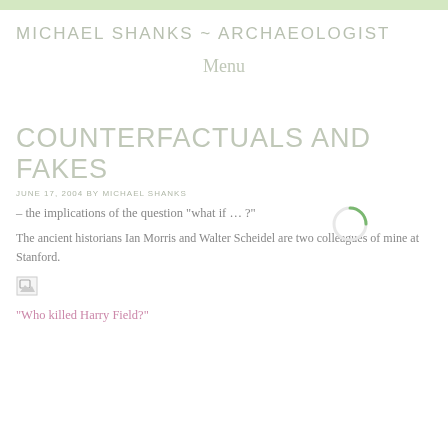MICHAEL SHANKS ~ ARCHAEOLOGIST
Menu
COUNTERFACTUALS AND FAKES
JUNE 17, 2004 by MICHAEL SHANKS
– the implications of the question "what if … ?"
[Figure (other): Loading spinner graphic (partial green circle arc)]
The ancient historians Ian Morris and Walter Scheidel are two colleagues of mine at Stanford.
[Figure (other): Broken image placeholder icon]
"Who killed Harry Field?"